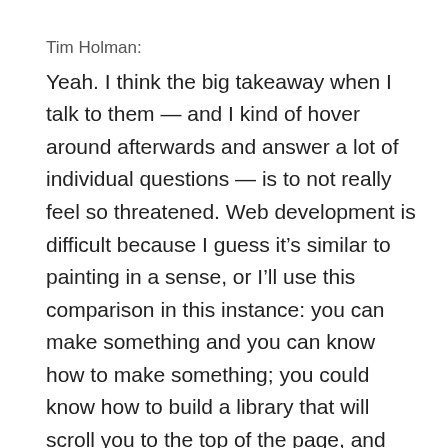Tim Holman:
Yeah. I think the big takeaway when I talk to them — and I kind of hover around afterwards and answer a lot of individual questions — is to not really feel so threatened. Web development is difficult because I guess it’s similar to painting in a sense, or I’ll use this comparison in this instance: you can make something and you can know how to make something; you could know how to build a library that will scroll you to the top of the page, and you can build it; but when you look at some of the things that other people are making, it seems very threatening.